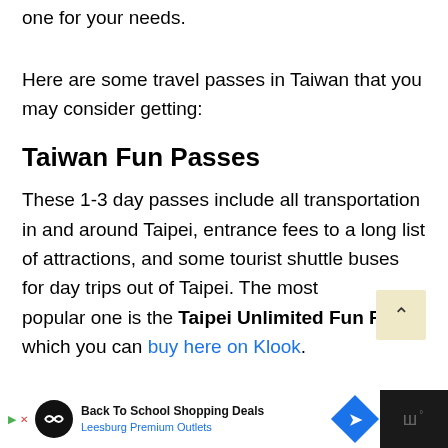one for your needs.
Here are some travel passes in Taiwan that you may consider getting:
Taiwan Fun Passes
These 1-3 day passes include all transportation in and around Taipei, entrance fees to a long list of attractions, and some tourist shuttle buses for day trips out of Taipei. The most popular one is the Taipei Unlimited Fun Pass, which you can buy here on Klook.
[Figure (other): Advertisement bar at bottom: Back To School Shopping Deals - Leesburg Premium Outlets with logo icons]